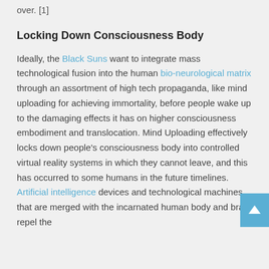over. [1]
Locking Down Consciousness Body
Ideally, the Black Suns want to integrate mass technological fusion into the human bio-neurological matrix through an assortment of high tech propaganda, like mind uploading for achieving immortality, before people wake up to the damaging effects it has on higher consciousness embodiment and translocation. Mind Uploading effectively locks down people's consciousness body into controlled virtual reality systems in which they cannot leave, and this has occurred to some humans in the future timelines. Artificial intelligence devices and technological machines that are merged with the incarnated human body and brain repel the